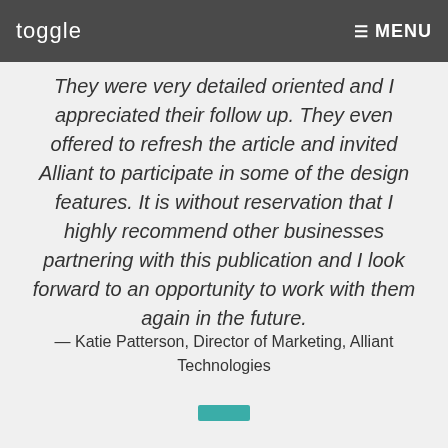toggle  MENU
whitepaper that was produced, but with the level of attention from the team we partnered with.
They were very detailed oriented and I appreciated their follow up. They even offered to refresh the article and invited Alliant to participate in some of the design features. It is without reservation that I highly recommend other businesses partnering with this publication and I look forward to an opportunity to work with them again in the future.
— Katie Patterson, Director of Marketing, Alliant Technologies
[Figure (other): Teal/turquoise horizontal decorative bar separator]